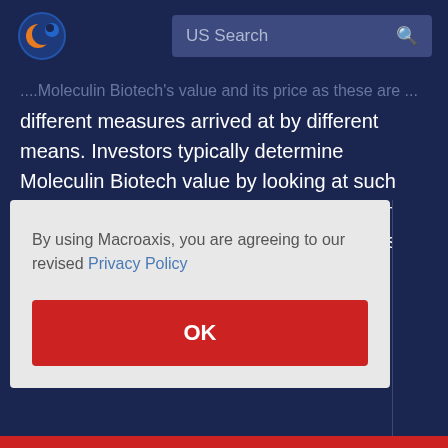US Search
...Moleculin Biotech's value and its price as these are different measures arrived at by different means. Investors typically determine Moleculin Biotech value by looking at such factors as earnings, sales, fundamental and technical indicators, competition as well as analyst projections. However, Moleculin Biotech's price is the amount at which ...ber
By using Macroaxis, you are agreeing to our revised Privacy Policy
OK